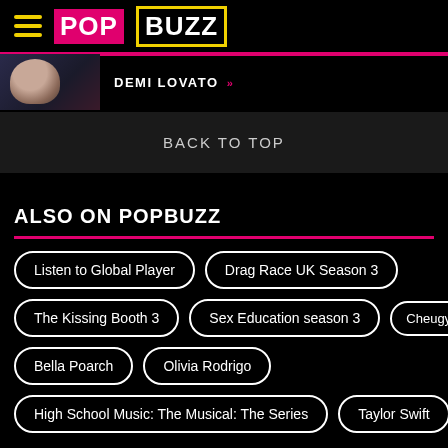PopBuzz
[Figure (screenshot): Demi Lovato banner strip with photo and pink link text DEMI LOVATO »]
BACK TO TOP
ALSO ON POPBUZZ
Listen to Global Player
Drag Race UK Season 3
The Kissing Booth 3
Sex Education season 3
Cheugy
Bella Poarch
Olivia Rodrigo
High School Music: The Musical: The Series
Taylor Swift